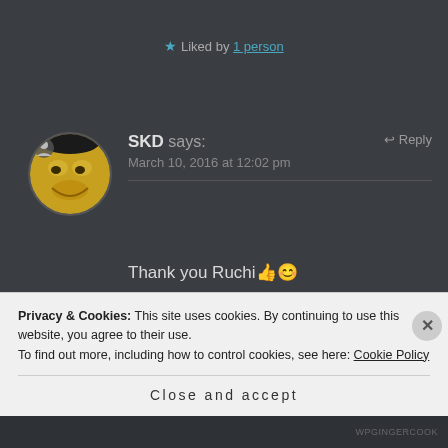★ Liked by 1 person
SKD says: March 10, 2016 at 12:02 pm ↩ Reply
Thank you Ruchi👍😊
★ Liked by 1 person
Privacy & Cookies: This site uses cookies. By continuing to use this website, you agree to their use.
To find out more, including how to control cookies, see here: Cookie Policy
Close and accept